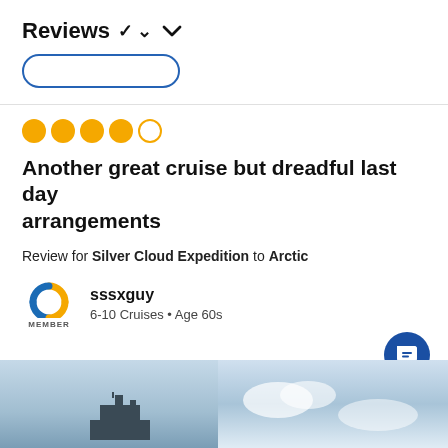Reviews ∨
[Figure (other): Blue outlined filter button (partially visible)]
[Figure (infographic): 4 filled orange circles and 1 empty orange circle — 4 out of 5 star rating]
Another great cruise but dreadful last day arrangements
Review for Silver Cloud Expedition to Arctic
sssxguy
6-10 Cruises • Age 60s
[Figure (logo): Cruise Critic member badge logo — orange and blue swoosh C symbol with MEMBER text below]
[Figure (photo): Partial photo of a cruise ship against a blue sky]
[Figure (photo): Partial photo with blue sky and clouds]